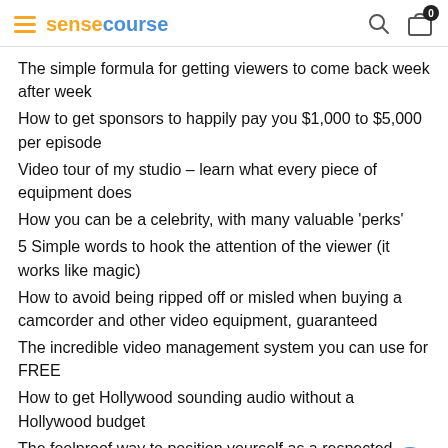sensecourse
The simple formula for getting viewers to come back week after week
How to get sponsors to happily pay you $1,000 to $5,000 per episode
Video tour of my studio – learn what every piece of equipment does
How you can be a celebrity, with many valuable 'perks'
5 Simple words to hook the attention of the viewer (it works like magic)
How to avoid being ripped off or misled when buying a camcorder and other video equipment, guaranteed
The incredible video management system you can use for FREE
How to get Hollywood sounding audio without a Hollywood budget
The foolproof way to position yourself as a respected expert and